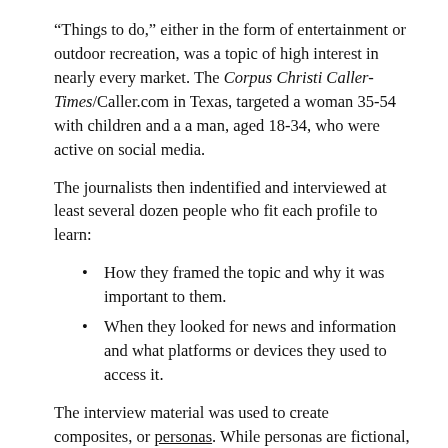“Things to do,” either in the form of entertainment or outdoor recreation, was a topic of high interest in nearly every market. The Corpus Christi Caller-Times/Caller.com in Texas, targeted a woman 35-54 with children and a a man, aged 18-34, who were active on social media.
The journalists then indentified and interviewed at least several dozen people who fit each profile to learn:
How they framed the topic and why it was important to them.
When they looked for news and information and what platforms or devices they used to access it.
The interview material was used to create composites, or personas. While personas are fictional, they serve to make real the information